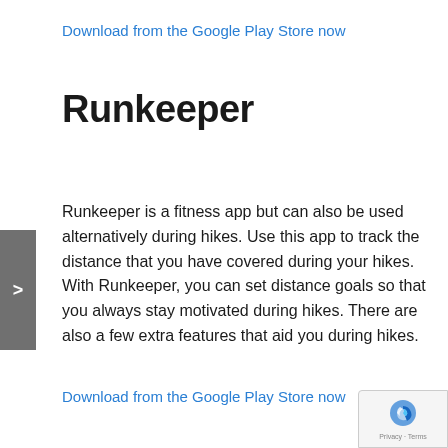Download from the Google Play Store now
Runkeeper
Runkeeper is a fitness app but can also be used alternatively during hikes. Use this app to track the distance that you have covered during your hikes. With Runkeeper, you can set distance goals so that you always stay motivated during hikes. There are also a few extra features that aid you during hikes.
Download from the Google Play Store now
[Figure (other): Google reCAPTCHA badge with Privacy and Terms links]